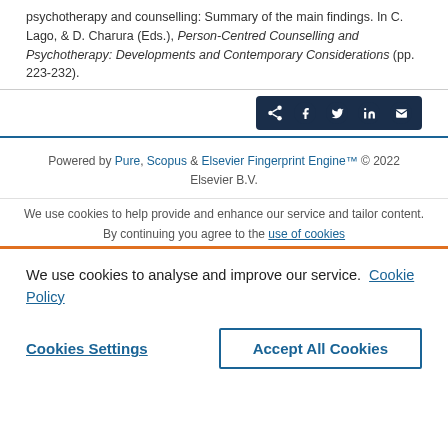psychotherapy and counselling: Summary of the main findings. In C. Lago, & D. Charura (Eds.), Person-Centred Counselling and Psychotherapy: Developments and Contemporary Considerations (pp. 223-232).
[Figure (other): Social share button group with icons for Facebook, Twitter, LinkedIn, and Email on a dark navy background]
Powered by Pure, Scopus & Elsevier Fingerprint Engine™ © 2022 Elsevier B.V.
We use cookies to help provide and enhance our service and tailor content. By continuing you agree to the use of cookies
We use cookies to analyse and improve our service. Cookie Policy
Cookies Settings
Accept All Cookies